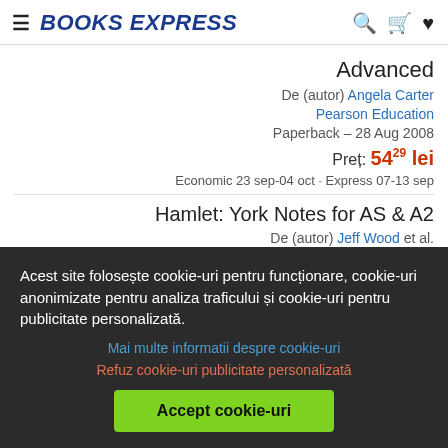BOOKS EXPRESS
Advanced
De (autor) Angela Carter
Pearson Education
Paperback – 28 Aug 2008
Preț: 54 29 lei
Economic 23 sep-04 oct · Express 07-13 sep
Hamlet: York Notes for AS & A2
De (autor) Jeff Wood et al.
Acest site folosește cookie-uri pentru funcționare, cookie-uri anonimizate pentru analiza traficului și cookie-uri pentru publicitate personalizată.
Mai multe informatii despre cookie-uri
Refuz cookie-uri publicitate personalizată
Accept cookie-uri